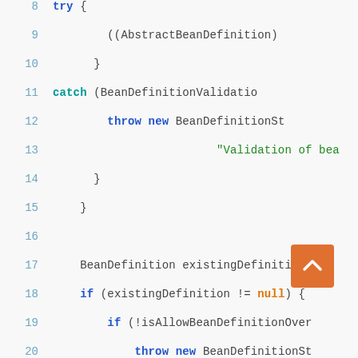[Figure (screenshot): Source code screenshot showing Java code with syntax highlighting. Lines 8-29 visible. Blue keywords (try, catch, throw, new, if, else if), teal keywords (null), green strings and comments, gray line numbers. Code involves BeanDefinition, AbstractBeanDefinition, BeanDefinitionValidationException, isAllowBeanDefinitionOverriding, logger.warn. An orange scroll-to-top button overlays the bottom right.]